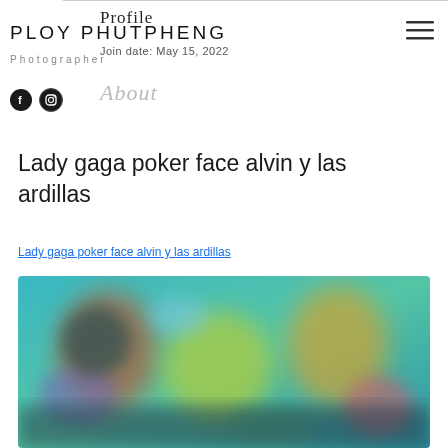Profile PLOY PHUTPHENG Photographer Join date: May 15, 2022
Lady gaga poker face alvin y las ardillas
Lady gaga poker face alvin y las ardillas
[Figure (screenshot): Blurred screenshot of an animated movie or video, featuring cartoon characters in a colorful scene with teal and green tones]